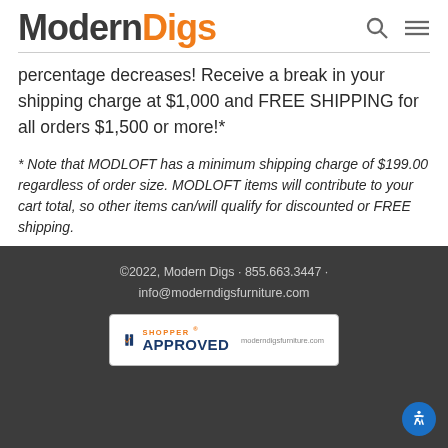Modern Digs
percentage decreases! Receive a break in your shipping charge at $1,000 and FREE SHIPPING for all orders $1,500 or more!*
* Note that MODLOFT has a minimum shipping charge of $199.00 regardless of order size. MODLOFT items will contribute to your cart total, so other items can/will qualify for discounted or FREE shipping.
©2022, Modern Digs · 855.663.3447 · info@moderndigsfurniture.com
[Figure (logo): Shopper Approved badge with moderndigsfurniture.com]